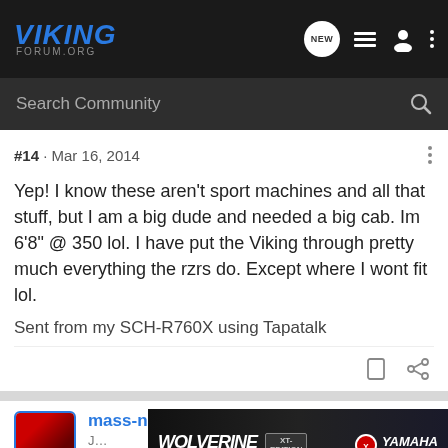VIKING FORUM.ORG
#14 · Mar 16, 2014
Yep! I know these aren't sport machines and all that stuff, but I am a big dude and needed a big cab. Im 6'8" @ 350 lol. I have put the Viking through pretty much everything the rzrs do. Except where I wont fit lol.

Sent from my SCH-R760X using Tapatalk
mass-n-trash · Premium Member
#15 · Ma